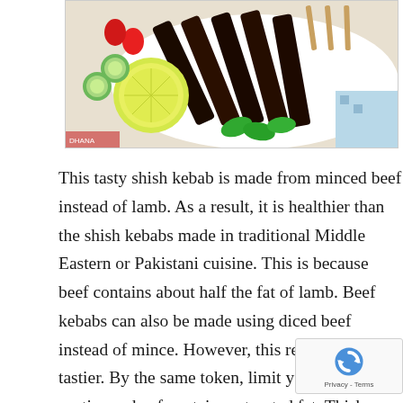[Figure (photo): A plate of shish kebabs (dark grilled minced beef skewers) served on a white platter with fresh garnishes: sliced cucumbers, strawberries, mint leaves, and a halved lime, on a wooden surface with a patterned cloth.]
This tasty shish kebab is made from minced beef instead of lamb. As a result, it is healthier than the shish kebabs made in traditional Middle Eastern or Pakistani cuisine. This is because beef contains about half the fat of lamb. Beef kebabs can also be made using diced beef instead of mince. However, this recipe is far tastier. By the same token, limit your serving portion as beef contains saturated fat. This shish kebab recipe can be made either by grilling in an oven or on the BBQ. As an additional healthy step, this recipe is